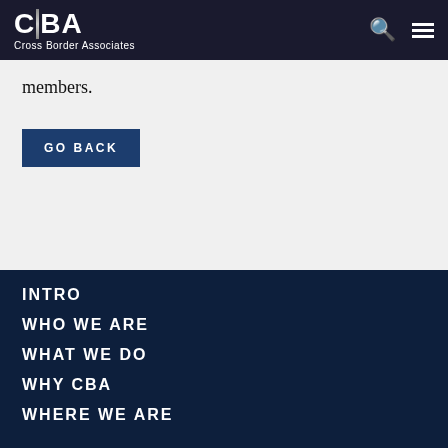CBA Cross Border Associates
members.
GO BACK
INTRO
WHO WE ARE
WHAT WE DO
WHY CBA
WHERE WE ARE